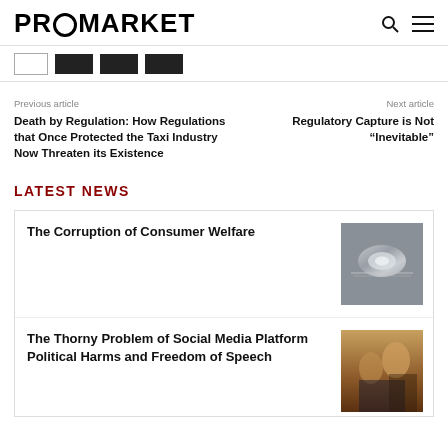PROMARKET
Previous article
Death by Regulation: How Regulations that Once Protected the Taxi Industry Now Threaten its Existence
Next article
Regulatory Capture is Not “Inevitable”
LATEST NEWS
The Corruption of Consumer Welfare
[Figure (photo): Close-up photo of a diamond necklace on dark background]
The Thorny Problem of Social Media Platform Political Harms and Freedom of Speech
[Figure (photo): Photo of two men in suits, one younger and one older]